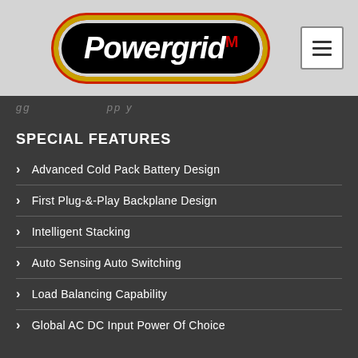[Figure (logo): Powergrid M logo — white italic script on black oval with orange/red border glow — on a light grey header background with a hamburger menu button top right]
SPECIAL FEATURES
Advanced Cold Pack Battery Design
First Plug-&-Play Backplane Design
Intelligent Stacking
Auto Sensing Auto Switching
Load Balancing Capability
Global AC DC Input Power Of Choice